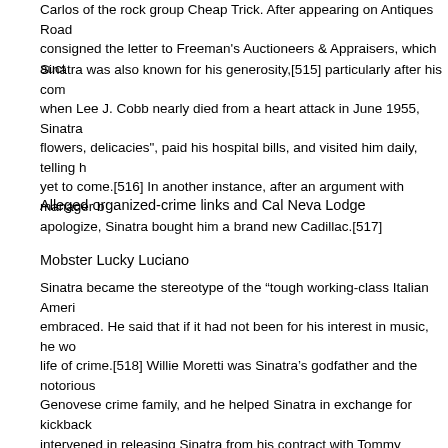Carlos of the rock group Cheap Trick. After appearing on Antiques Road consigned the letter to Freeman's Auctioneers & Appraisers, which auct
Sinatra was also known for his generosity,[515] particularly after his com when Lee J. Cobb nearly died from a heart attack in June 1955, Sinatra flowers, delicacies", paid his hospital bills, and visited him daily, telling h yet to come.[516] In another instance, after an argument with manager b apologize, Sinatra bought him a brand new Cadillac.[517]
Alleged organized-crime links and Cal Neva Lodge
Mobster Lucky Luciano
Sinatra became the stereotype of the “tough working-class Italian Ameri embraced. He said that if it had not been for his interest in music, he wo life of crime.[518] Willie Moretti was Sinatra’s godfather and the notorious Genovese crime family, and he helped Sinatra in exchange for kickback intervened in releasing Sinatra from his contract with Tommy Dorsey.[51 Havana Conference in 1946,[520] and the press learned of his being the newspaper published the headline, “Shame, Sinatra”.[521] He was repo Sam Giancana,[522] and the two men were seen playing golf together.[5 Silvers that Sinatra “adored” Bugsy Siegel, and boasted to friends about